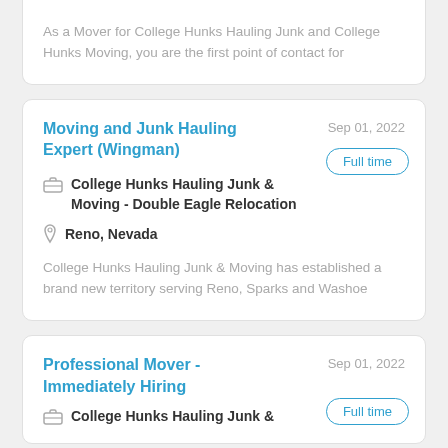As a Mover for College Hunks Hauling Junk and College Hunks Moving, you are the first point of contact for
Moving and Junk Hauling Expert (Wingman)
Sep 01, 2022
Full time
College Hunks Hauling Junk & Moving - Double Eagle Relocation
Reno, Nevada
College Hunks Hauling Junk & Moving has established a brand new territory serving Reno, Sparks and Washoe
Professional Mover - Immediately Hiring
Sep 01, 2022
Full time
College Hunks Hauling Junk &